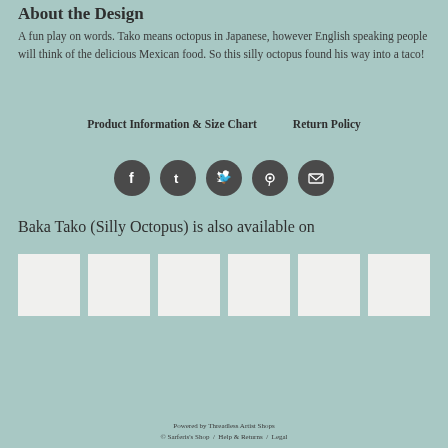About the Design
A fun play on words. Tako means octopus in Japanese, however English speaking people will think of the delicious Mexican food. So this silly octopus found his way into a taco!
Product Information & Size Chart    Return Policy
[Figure (infographic): Row of five social media icon circles (Facebook, Tumblr, Twitter, Pinterest, Email) in dark gray on teal background]
Baka Tako (Silly Octopus) is also available on
[Figure (other): Six white thumbnail image placeholders in a horizontal row]
Powered by Threadless Artist Shops
© Sarferis's Shop / Help & Returns / Legal